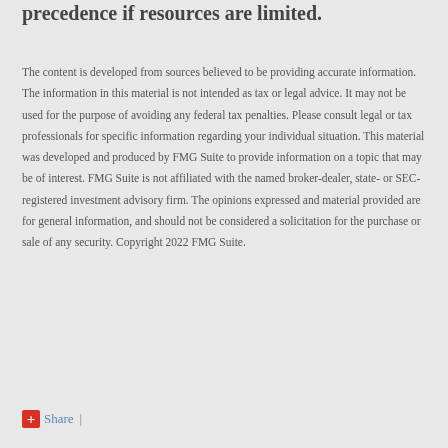precedence if resources are limited.
The content is developed from sources believed to be providing accurate information. The information in this material is not intended as tax or legal advice. It may not be used for the purpose of avoiding any federal tax penalties. Please consult legal or tax professionals for specific information regarding your individual situation. This material was developed and produced by FMG Suite to provide information on a topic that may be of interest. FMG Suite is not affiliated with the named broker-dealer, state- or SEC-registered investment advisory firm. The opinions expressed and material provided are for general information, and should not be considered a solicitation for the purchase or sale of any security. Copyright 2022 FMG Suite.
Share |